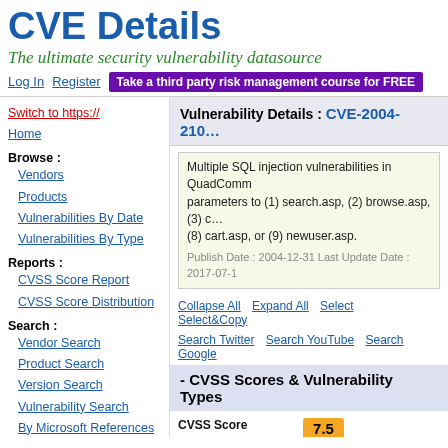CVE Details
The ultimate security vulnerability datasource
Log In  Register  Take a third party risk management course for FREE
Switch to https://
Home
Browse :
Vendors
Products
Vulnerabilities By Date
Vulnerabilities By Type
Reports :
CVSS Score Report
CVSS Score Distribution
Search :
Vendor Search
Product Search
Version Search
Vulnerability Search
By Microsoft References
Top 50 :
Vendors
Vendor Cvss Scores
Vulnerability Details : CVE-2004-2104
Multiple SQL injection vulnerabilities in QuadComm... parameters to (1) search.asp, (2) browse.asp, (3) c... (8) cart.asp, or (9) newuser.asp.
Publish Date : 2004-12-31 Last Update Date : 2017-07-1
Collapse All  Expand All  Select  Select&Copy
Search Twitter  Search YouTube  Search Google
- CVSS Scores & Vulnerability Types
|  |  |
| --- | --- |
| CVSS Score | 7.5 |
| Confidentiality Impact | Partial (There is consid... |
| Integrity Impact | Partial (Modification of... control over what can b... |
| Availability Impact | Partial (There is reduc... |